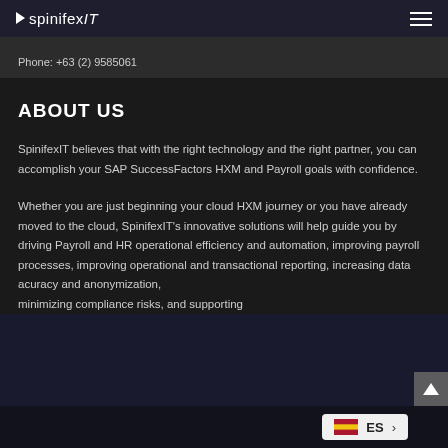SpinifexIT
Phone: +63 (2) 9585061
ABOUT US
SpinifexIT believes that with the right technology and the right partner, you can accomplish your SAP SuccessFactors HXM and Payroll goals with confidence.
Whether you are just beginning your cloud HXM journey or you have already moved to the cloud, SpinifexIT's innovative solutions will help guide you by driving Payroll and HR operational efficiency and automation, improving payroll processes, improving operational and transactional reporting, increasing data accuracy and anonymization, minimizing compliance risks, and supporting